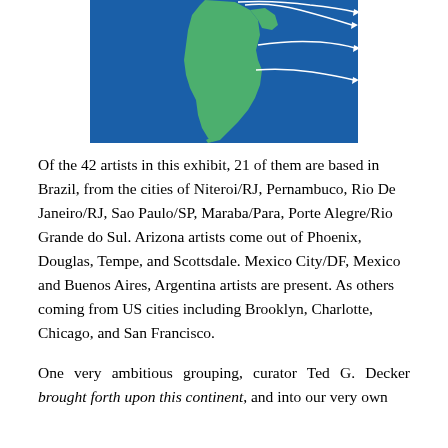[Figure (map): A map of South America (primarily Brazil) shown in green against a dark blue background with white curved lines/arrows emanating from the continent, suggesting travel routes or connections.]
Of the 42 artists in this exhibit, 21 of them are based in Brazil, from the cities of Niteroi/RJ, Pernambuco, Rio De Janeiro/RJ, Sao Paulo/SP, Maraba/Para, Porte Alegre/Rio Grande do Sul. Arizona artists come out of Phoenix, Douglas, Tempe, and Scottsdale. Mexico City/DF, Mexico and Buenos Aires, Argentina artists are present. As others coming from US cities including Brooklyn, Charlotte, Chicago, and San Francisco.
One very ambitious grouping, curator Ted G. Decker brought forth upon this continent, and into our very own